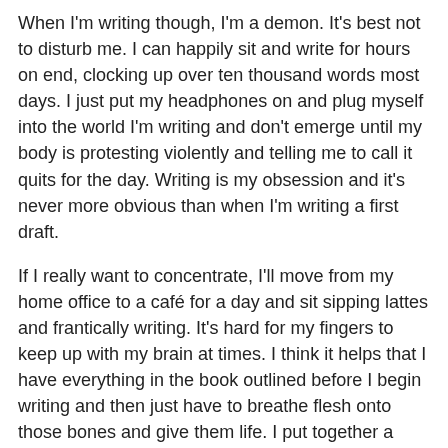When I'm writing though, I'm a demon. It's best not to disturb me. I can happily sit and write for hours on end, clocking up over ten thousand words most days. I just put my headphones on and plug myself into the world I'm writing and don't emerge until my body is protesting violently and telling me to call it quits for the day. Writing is my obsession and it's never more obvious than when I'm writing a first draft.
If I really want to concentrate, I'll move from my home office to a café for a day and sit sipping lattes and frantically writing. It's hard for my fingers to keep up with my brain at times. I think it helps that I have everything in the book outlined before I begin writing and then just have to breathe flesh onto those bones and give them life. I put together a comprehensive outline from all the scenes notes I jot down when planning the book. Sometimes that outline can end up as long as twenty thousand words.
What do you do when you're not writing?
I love watching anime and reading manga, both Japanese in origin, and can happily sit watching a new anime series or